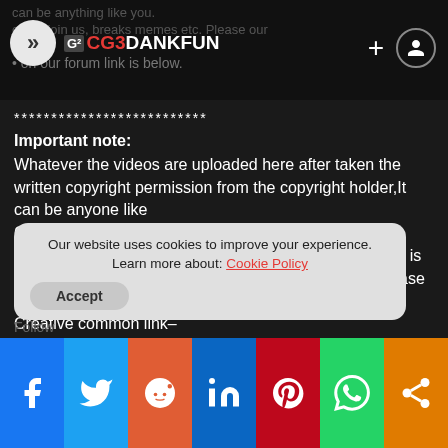CG3DANKFUN
************************** Important note: Whatever the videos are uploaded here after taken the written copyright permission from the copyright holder,It can be anyone like CGARTIST,STUDIO,SCHOOL,INSTITUTE,COLLEGE, ETC.. or can be a part of Creative Common license link is below for any copyright clash or further information please contact us at info@cg3dankfun.com Creative common link– https://creativecommons.org/licenses/by/4.0/legalcode
Our website uses cookies to improve your experience. Learn more about: Cookie Policy
Accept
–**Check out our website to know more–
[Figure (screenshot): Social share bar with Facebook, Twitter, Reddit, LinkedIn, Pinterest, WhatsApp, and share icons]